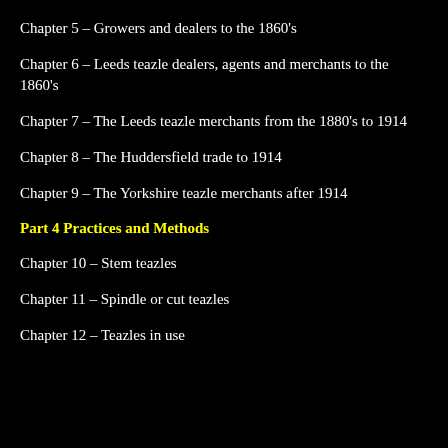Chapter 5 – Growers and dealers to the 1860's
Chapter 6 – Leeds teazle dealers, agents and merchants to the 1860's
Chapter 7 – The Leeds teazle merchants from the 1880's to 1914
Chapter 8 – The Huddersfield trade to 1914
Chapter 9 – The Yorkshire teazle merchants after 1914
Part 4 Practices and Methods
Chapter 10 – Stem teazles
Chapter 11 – Spindle or cut teazles
Chapter 12 – Teazles in use